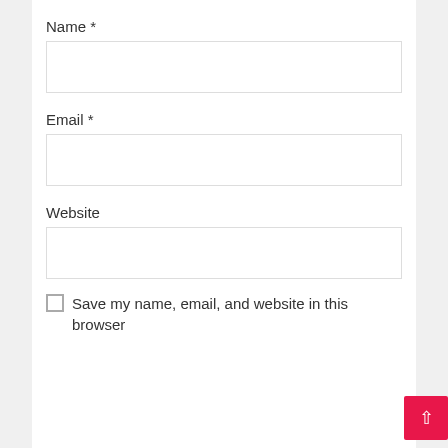Name *
[Figure (other): Empty text input field for Name]
Email *
[Figure (other): Empty text input field for Email]
Website
[Figure (other): Empty text input field for Website]
Save my name, email, and website in this browser
[Figure (other): Pink/red scroll-to-top button with arrow icon in bottom right corner]